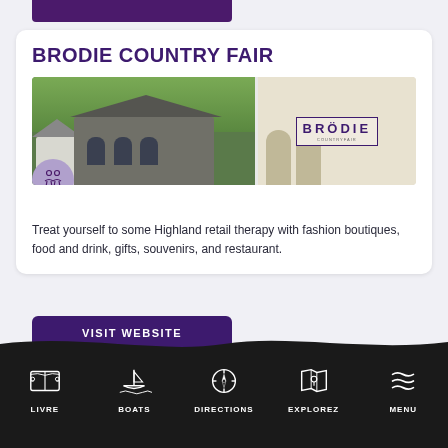[Figure (photo): Top purple button/bar partially visible at top of page]
BRODIE COUNTRY FAIR
[Figure (photo): Two side-by-side photos of Brodie Country Fair buildings: left shows modern retail buildings surrounded by trees, right shows white building facade with BRODIE signage. A purple circle with people/group icon overlays the bottom-left of the photos.]
Treat yourself to some Highland retail therapy with fashion boutiques, food and drink, gifts, souvenirs, and restaurant.
[Figure (other): VISIT WEBSITE purple button]
[Figure (infographic): Bottom navigation bar with icons and labels: LIVRE (ticket icon), BOATS (boat/ship icon), DIRECTIONS (compass icon), EXPLOREZ (map icon), MENU (waves/lines icon)]